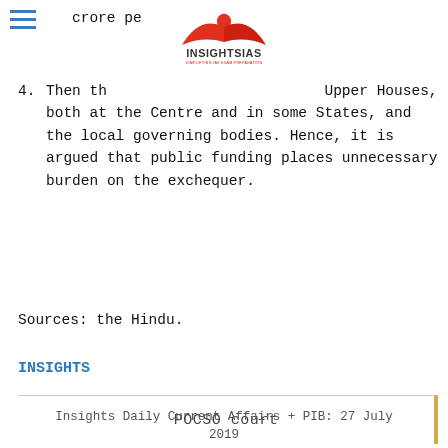INSIGHTS IAS — SIMPLIFYING IAS EXAM PREPARATION
crore pe…
4. Then th… Upper Houses, both at the Centre and in some States, and the local governing bodies. Hence, it is argued that public funding places unnecessary burden on the exchequer.
Sources: the Hindu.
INSIGHTS
POCSO court
Insights Daily Current Affairs + PIB: 27 July 2019